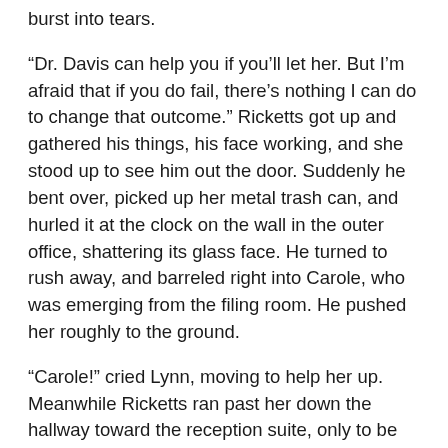burst into tears.
“Dr. Davis can help you if you’ll let her. But I’m afraid that if you do fail, there’s nothing I can do to change that outcome.” Ricketts got up and gathered his things, his face working, and she stood up to see him out the door. Suddenly he bent over, picked up her metal trash can, and hurled it at the clock on the wall in the outer office, shattering its glass face. He turned to rush away, and barreled right into Carole, who was emerging from the filing room. He pushed her roughly to the ground.
“Carole!” cried Lynn, moving to help her up. Meanwhile Ricketts ran past her down the hallway toward the reception suite, only to be confronted by West, who was striding purposefully down the hall in a charcoal suit and navy tie, his bulk filling the narrow space. As Ricketts tried